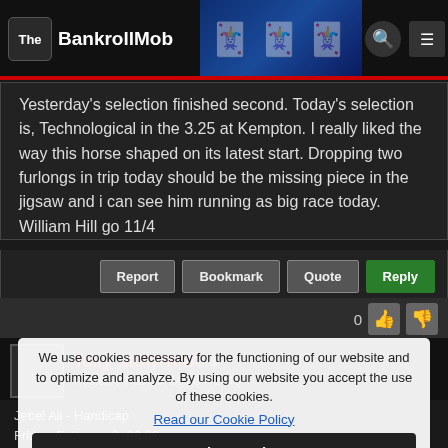[Figure (screenshot): BankrollMob website header with logo, navigation icons, and casino-themed graphic]
Yesterday's selection finished second. Today's selection is, Technological in the 3.25 at Kempton. I really liked the way this horse shaped on its latest start. Dropping two furlongs in trip today should be the missing piece in the jigsaw and i can see him running as big race today. William Hill go 11/4
Report  Bookmark  Quote  Reply
0
Tony_MON7ANA  Posted 8-Feb-19, 10:58  #2345
Jebel Ali - Handicap
Friday, February 8, 06:00
- Big Prize and  Banalytic: By using our website you accept the use of these cookies.
Fairview - All To Come Maiden Plate
Friday, February 8, 06:10
- Little Drummer Boy (Top 3 Finish) @ 2.20 (@ Betfair Exchange)
All times are Eastern Standard Time (UTC-5)
We use cookies necessary for the functioning of our website and to optimize and analyze. By using our website you accept the use of these cookies.
Read our Cookie Policy
Understood